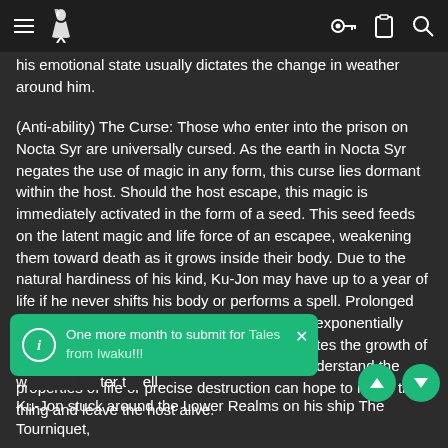Navigation bar with hamburger menu, logo, key icon, clipboard icon, search icon
his emotional state usually dictates the change in weather around him.
(Anti-ability) The Curse: Those who enter into the prison on Nocta Syr are universally cursed. As the earth in Nocta Syr negates the use of magic in any form, this curse lies dormant within the host. Should the host escape, this magic is immediately activated in the form of a seed. This seed feeds on the latent magic and life force of an escapee, weakening them toward death as it grows inside their body. Due to the natural hardiness of his kind, Ku-Jon may have up to a year of life if he never shifts his body or performs a spell. Prolonged use of either or both can shorten his lifespan exponentially however as each application of ability stimulates the growth of the curse plant. Only powerful mages who understand the properties of life or precise destruction can hope to injure the thing and leave the host alive.
H[obscured by toast] e realm known for its[obscured] f the land and w[obscured] ter t[obscured] ell. Ku-Jon stuck around the Lower Realms on his ship The Tourniquet,